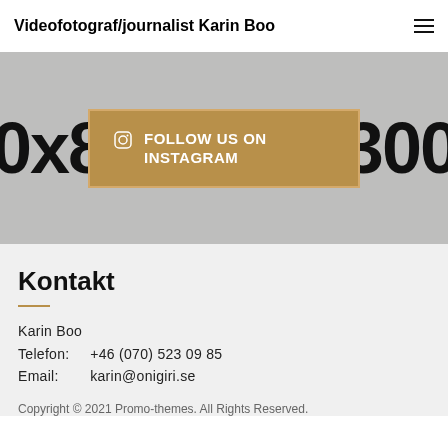Videofotograf/journalist Karin Boo
[Figure (screenshot): Gray placeholder hero image with large text '0x867' on left and '1300' on right, with a golden Instagram follow button in center]
Kontakt
Karin Boo
Telefon:   +46 (070) 523 09 85
Email:     karin@onigiri.se
Copyright © 2021 Promo-themes. All Rights Reserved.